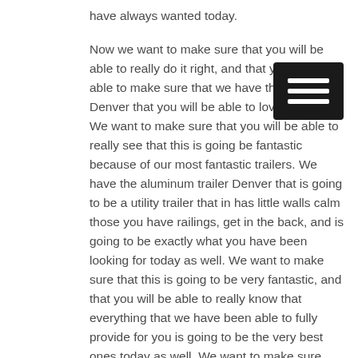have always wanted today.
Now we want to make sure that you will be able to really do it right, and that you will be able to make sure that we have the trailer Denver that you will be able to love as well. We want to make sure that you will be able to really see that this is going be fantastic because of our most fantastic trailers. We have the aluminum trailer Denver that is going to be a utility trailer that in has little walls calm those you have railings, get in the back, and is going to be exactly what you have been looking for today as well. We want to make sure that this is going to be very fantastic, and that you will be able to really know that everything that we have been able to fully provide for you is going to be the very best ones today as well. We want to make sure that you will know that this is going to be great today.
We will show you that we have the aluminum trailer